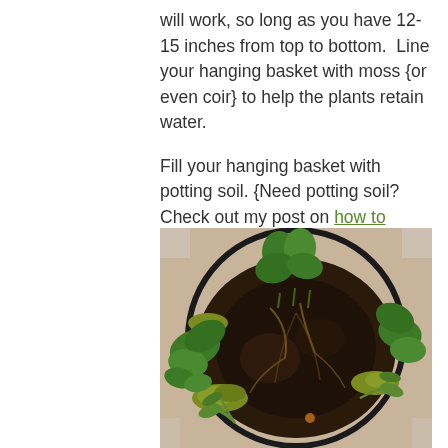will work, so long as you have 12-15 inches from top to bottom.  Line your hanging basket with moss {or even coir} to help the plants retain water.

Fill your hanging basket with potting soil. {Need potting soil?  Check out my post on how to make your own potting soil.}
[Figure (photo): Top-down view of a hanging wire basket filled with dark potting soil and several green strawberry plants with visible roots, moss around the edges, and a black wire frame.]